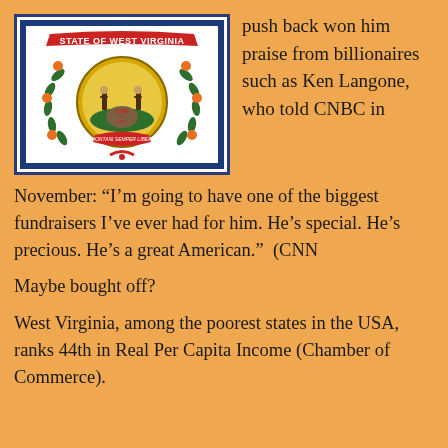[Figure (photo): West Virginia state flag showing the state seal with two figures, wreath, and banner reading STATE OF WEST VIRGINIA]
push back won him praise from billionaires such as Ken Langone, who told CNBC in
November: “I’m going to have one of the biggest fundraisers I’ve ever had for him. He’s special. He’s precious. He’s a great American.”  (CNN
Maybe bought off?
West Virginia, among the poorest states in the USA, ranks 44th in Real Per Capita Income (Chamber of Commerce).